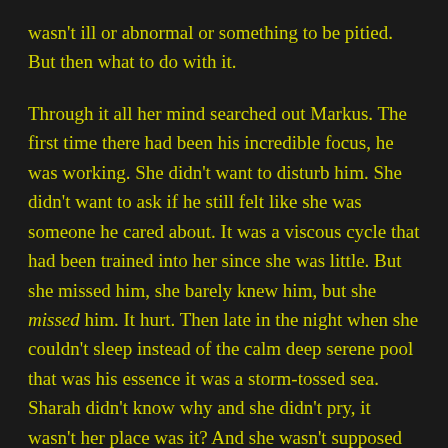wasn't ill or abnormal or something to be pitied. But then what to do with it.
Through it all her mind searched out Markus. The first time there had been his incredible focus, he was working. She didn't want to disturb him. She didn't want to ask if he still felt like she was someone he cared about. It was a viscous cycle that had been trained into her since she was little. But she missed him, she barely knew him, but she missed him. It hurt. Then late in the night when she couldn't sleep instead of the calm deep serene pool that was his essence it was a storm-tossed sea. Sharah didn't know why and she didn't pry, it wasn't her place was it? And she wasn't supposed to be listening in the first place; she'd been told that her entire life. But eventually, in the loneliness and sadness she sought him out again. She was sitting in a small extra office in sickbay, away from everyone, lonely but never alone, eating lunch. More like